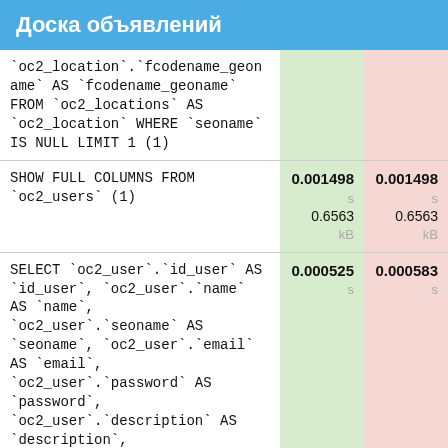Доска объявлений
| Query | Time | Time |
| --- | --- | --- |
| `oc2_location`.`fcodename_geoname` AS `fcodename_geoname` FROM `oc2_locations` AS `oc2_location` WHERE `seoname` IS NULL LIMIT 1 (1) |  |  |
| SHOW FULL COLUMNS FROM `oc2_users` (1) | 0.001498 s 0.6563 kB | 0.001498 s 0.6563 kB |
| SELECT `oc2_user`.`id_user` AS `id_user`, `oc2_user`.`name` AS `name`, `oc2_user`.`seoname` AS `seoname`, `oc2_user`.`email` AS `email`, `oc2_user`.`password` AS `password`, `oc2_user`.`description` AS `description`, `oc2_user`.`status` AS `status`, `oc2_user`.`id_role` AS | 0.000525 s | 0.000583 s |